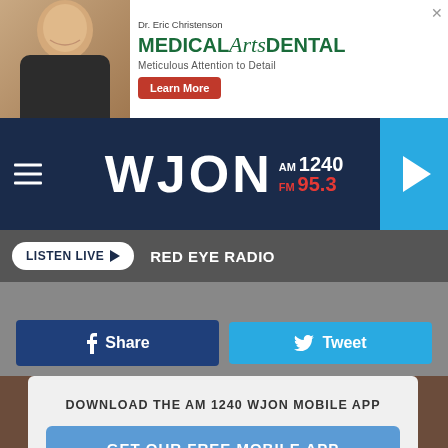[Figure (photo): Medical Arts Dental advertisement banner with Dr. Eric Christenson photo, green branding text, and Learn More button]
[Figure (logo): WJON AM 1240 FM 95.3 radio station logo on dark navy background with hamburger menu and play button]
LISTEN LIVE  RED EYE RADIO
Share
Tweet
DOWNLOAD THE AM 1240 WJON MOBILE APP
GET OUR FREE MOBILE APP
Also listen on:  amazon alexa